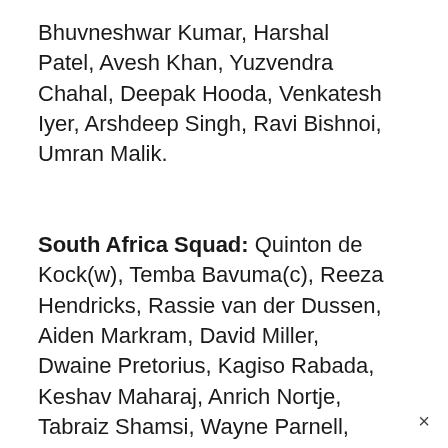Bhuvneshwar Kumar, Harshal Patel, Avesh Khan, Yuzvendra Chahal, Deepak Hooda, Venkatesh Iyer, Arshdeep Singh, Ravi Bishnoi, Umran Malik.
South Africa Squad: Quinton de Kock(w), Temba Bavuma(c), Reeza Hendricks, Rassie van der Dussen, Aiden Markram, David Miller, Dwaine Pretorius, Kagiso Rabada, Keshav Maharaj, Anrich Nortje, Tabraiz Shamsi, Wayne Parnell, Lungi Ngidi, Heinrich Klaasen, Marco Jansen, Tristan Stubbs.